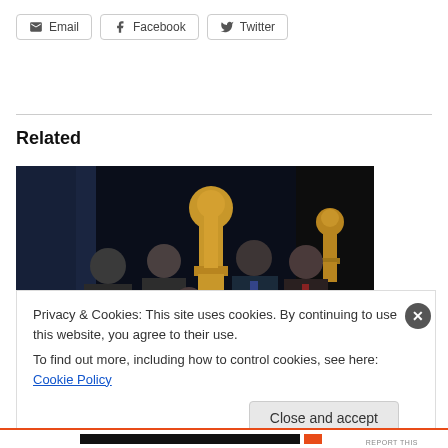Email
Facebook
Twitter
Related
[Figure (photo): Group of five people standing together holding award certificates in front of golden Oscar statue on a dark stage background]
Privacy & Cookies: This site uses cookies. By continuing to use this website, you agree to their use.
To find out more, including how to control cookies, see here: Cookie Policy
Close and accept